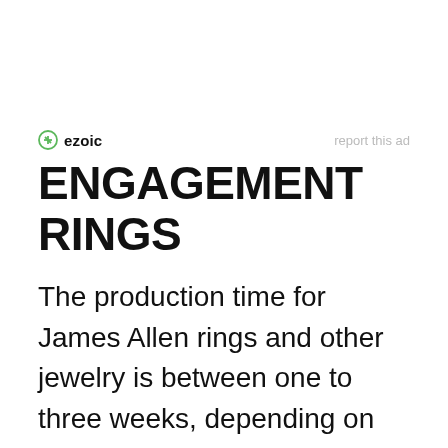ezoic   report this ad
ENGAGEMENT RINGS
The production time for James Allen rings and other jewelry is between one to three weeks, depending on your order. Although one to three weeks is a